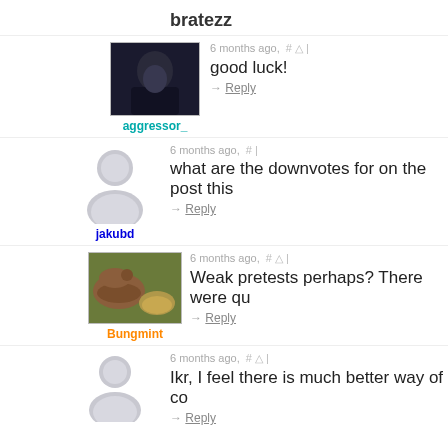bratezz
6 months ago, # ^ |
[Figure (photo): Avatar photo of aggressor_ showing a person in dark lighting]
aggressor_
good luck!
→ Reply
6 months ago, # |
[Figure (illustration): Generic grey person silhouette placeholder avatar for jakubd]
jakubd
what are the downvotes for on the post this
→ Reply
6 months ago, # ^ |
[Figure (photo): Avatar photo of Bungmint showing a rodent/capybara near a turtle]
Bungmint
Weak pretests perhaps? There were qu
→ Reply
6 months ago, # ^ |
[Figure (illustration): Generic grey person silhouette placeholder avatar]
Ikr, I feel there is much better way of co
→ Reply